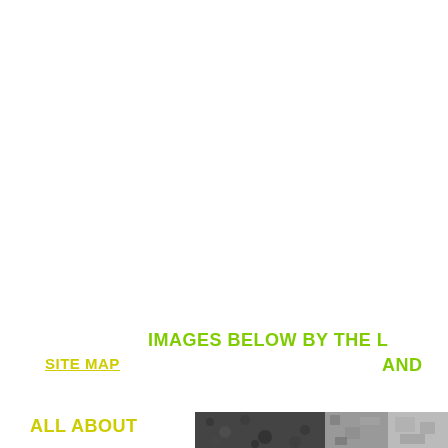IMAGES BELOW BY THE L
AND
SITE MAP
ALL ABOUT
[Figure (photo): A strip of grayscale/dark photographs at the bottom of the page, partially visible]